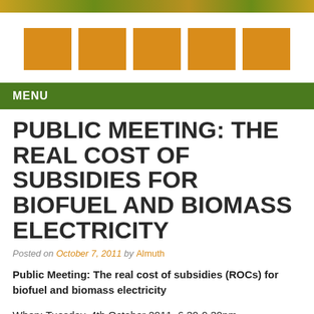[Figure (photo): Header banner image with green and golden tones]
[Figure (illustration): Five orange/golden squares in a row, decorative navigation elements]
MENU
PUBLIC MEETING: THE REAL COST OF SUBSIDIES FOR BIOFUEL AND BIOMASS ELECTRICITY
Posted on October 7, 2011 by Almuth
Public Meeting: The real cost of subsidies (ROCs) for biofuel and biomass electricity
When: Tuesday, 4th October 2011, 6.30-9.30pm